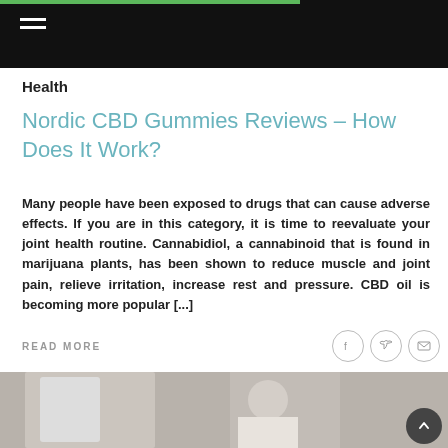Health
Nordic CBD Gummies Reviews – How Does It Work?
Many people have been exposed to drugs that can cause adverse effects. If you are in this category, it is time to reevaluate your joint health routine. Cannabidiol, a cannabinoid that is found in marijuana plants, has been shown to reduce muscle and joint pain, relieve irritation, increase rest and pressure. CBD oil is becoming more popular [...]
READ MORE
[Figure (photo): Bottom portion of a webpage showing a partial image of supplement bottles and a smiling man in a white coat]